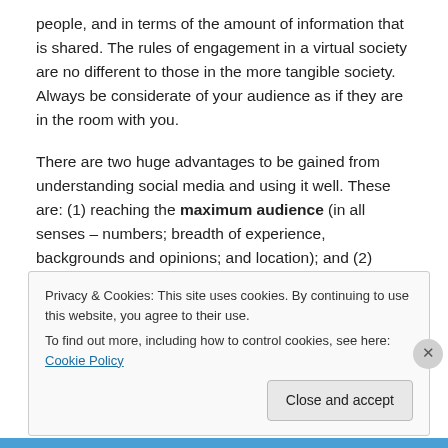people, and in terms of the amount of information that is shared. The rules of engagement in a virtual society are no different to those in the more tangible society. Always be considerate of your audience as if they are in the room with you.
There are two huge advantages to be gained from understanding social media and using it well. These are: (1) reaching the maximum audience (in all senses – numbers; breadth of experience, backgrounds and opinions; and location); and (2) engaging in a two-way
Privacy & Cookies: This site uses cookies. By continuing to use this website, you agree to their use.
To find out more, including how to control cookies, see here: Cookie Policy